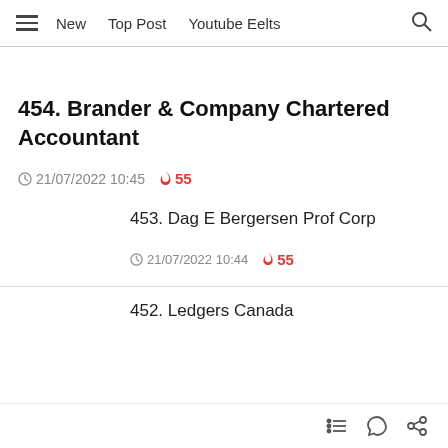≡  New  Top Post  Youtube Eelts  🔍
454. Brander & Company Chartered Accountant
21/07/2022 10:45   🔥 55
453. Dag E Bergersen Prof Corp
21/07/2022 10:44   🔥 55
452. Ledgers Canada